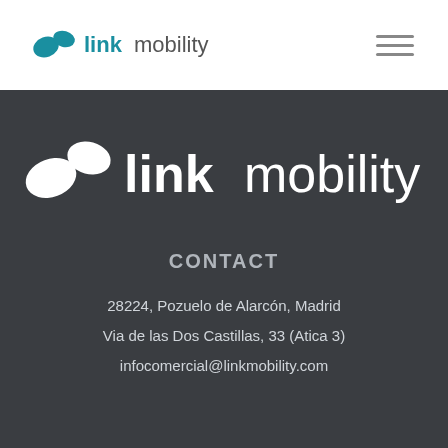[Figure (logo): Link Mobility logo in teal/dark colors in header bar]
[Figure (logo): Link Mobility large white logo on dark background]
CONTACT
28224, Pozuelo de Alarcón, Madrid
Via de las Dos Castillas, 33 (Atica 3)
infocomercial@linkmobility.com